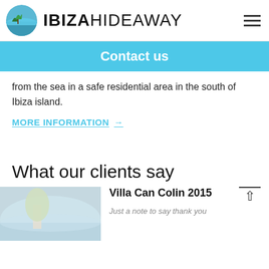IBIZAHIDEAWAY
Contact us
from the sea in a safe residential area in the south of Ibiza island.
MORE INFORMATION →
What our clients say
Villa Can Colin 2015
Just a note to say thank you